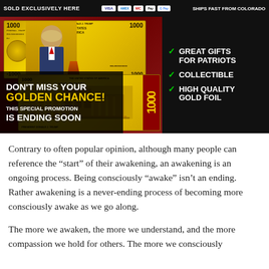[Figure (photo): Advertisement for gold foil Trump $1000 commemorative bills. Top bar shows 'SOLD EXCLUSIVELY HERE' with payment icons (Visa, American Express, Mastercard, Apple Pay, Google Pay) and 'SHIPS FAST FROM COLORADO'. Main ad shows gold foil Trump $1000 bills with text: 'GREAT GIFTS FOR PATRIOTS', 'COLLECTIBLE', 'HIGH QUALITY GOLD FOIL'. Bottom left overlay text: 'DON'T MISS YOUR GOLDEN CHANCE! THIS SPECIAL PROMOTION IS ENDING SOON']
Contrary to often popular opinion, although many people can reference the “start” of their awakening, an awakening is an ongoing process. Being consciously “awake” isn’t an ending. Rather awakening is a never-ending process of becoming more consciously awake as we go along.
The more we awaken, the more we understand, and the more compassion we hold for others. The more we consciously